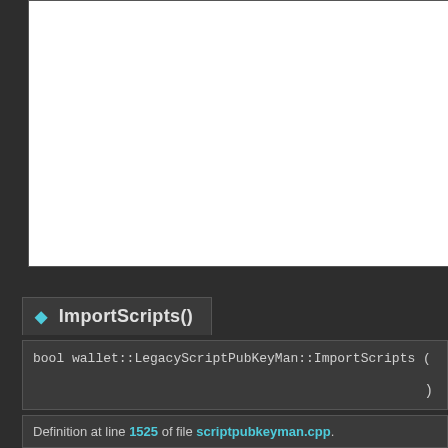[Figure (screenshot): White panel area (top portion of code documentation page, content scrolled above visible area)]
◆ ImportScripts()
bool wallet::LegacyScriptPubKeyMan::ImportScripts (
)
Definition at line 1525 of file scriptpubkeyman.cpp.